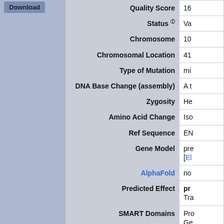| Field | Value |
| --- | --- |
| Quality Score | 16 |
| Status | Va |
| Chromosome | 10 |
| Chromosomal Location | 41 |
| Type of Mutation | mi |
| DNA Base Change (assembly) | A t |
| Zygosity | He |
| Amino Acid Change | Iso |
| Ref Sequence | EN |
| Gene Model | pre [El |
| AlphaFold | no |
| Predicted Effect | pr Tra |
| SMART Domains | Pro Ge |